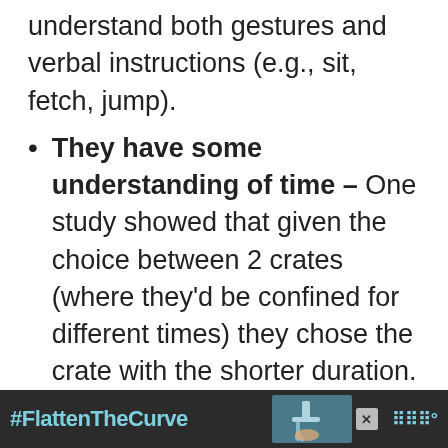understand both gestures and verbal instructions (e.g., sit, fetch, jump).
They have some understanding of time – One study showed that given the choice between 2 crates (where they'd be confined for different times) they chose the crate with the shorter duration.
They excel at navigation – Pigs have no problem navigating complex
#FlattenTheCurve